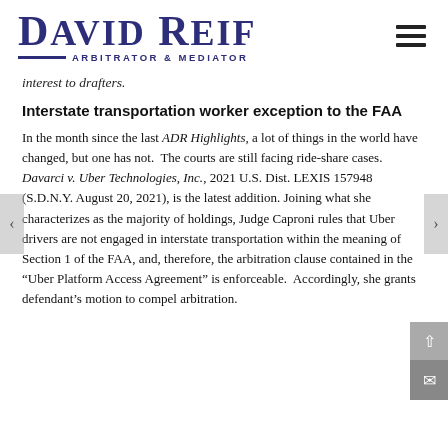DAVID REIF ARBITRATOR & MEDIATOR
interest to drafters.
Interstate transportation worker exception to the FAA
In the month since the last ADR Highlights, a lot of things in the world have changed, but one has not. The courts are still facing ride-share cases. Davarci v. Uber Technologies, Inc., 2021 U.S. Dist. LEXIS 157948 (S.D.N.Y. August 20, 2021), is the latest addition. Joining what she characterizes as the majority of holdings, Judge Caproni rules that Uber drivers are not engaged in interstate transportation within the meaning of Section 1 of the FAA, and, therefore, the arbitration clause contained in the “Uber Platform Access Agreement” is enforceable. Accordingly, she grants defendant’s motion to compel arbitration.